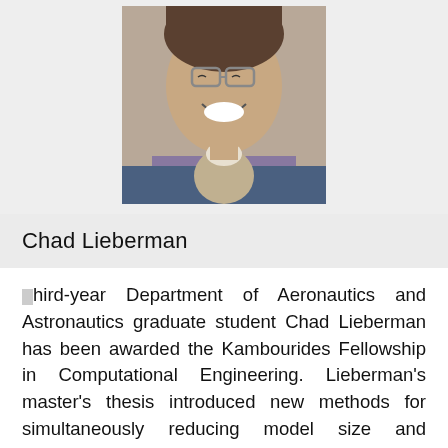[Figure (photo): Headshot photo of Chad Lieberman, a smiling young man wearing glasses and a knit sweater over a jacket]
Chad Lieberman
Third-year Department of Aeronautics and Astronautics graduate student Chad Lieberman has been awarded the Kambourides Fellowship in Computational Engineering. Lieberman's master's thesis introduced new methods for simultaneously reducing model size and parameter dimension in statistical inverse problems. His research focuses on